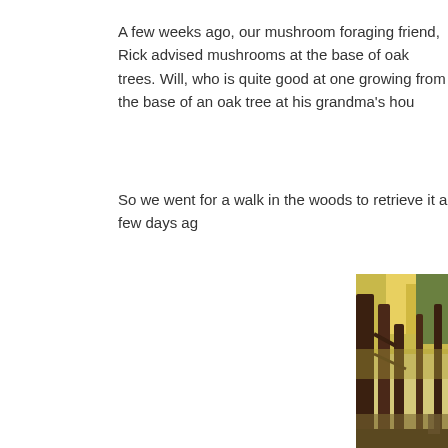A few weeks ago, our mushroom foraging friend, Rick advised mushrooms at the base of oak trees. Will, who is quite good at one growing from the base of an oak tree at his grandma's hou
So we went for a walk in the woods to retrieve it a few days ag
[Figure (photo): A photograph of tall trees in autumn woodland with golden and green foliage, dark tree trunks in the foreground, sunlight filtering through the canopy.]